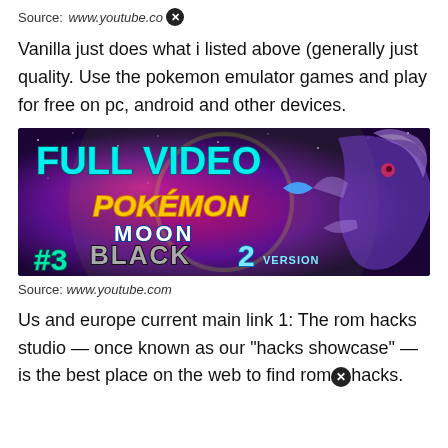Source: www.youtube.com
Vanilla just does what i listed above (generally just quality. Use the pokemon emulator games and play for free on pc, android and other devices.
[Figure (screenshot): YouTube video thumbnail for 'Pokemon Moon Black 2 Version - Full Video #3'. Shows the game logo with 'FULL VIDEO' text in cyan at top, Pokemon Moon Black 2 Version logo in the center, '#3' in yellow on bottom left, with a purple/pink galaxy background and a Pokemon creature on the right.]
Source: www.youtube.com
Us and europe current main link 1: The rom hacks studio — once known as our "hacks showcase" — is the best place on the web to find rom hacks.